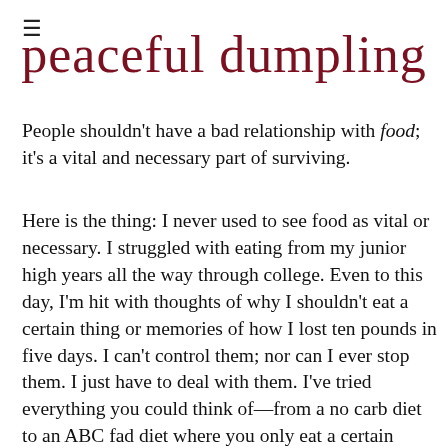≡
peaceful dumpling
People shouldn't have a bad relationship with food; it's a vital and necessary part of surviving.
Here is the thing: I never used to see food as vital or necessary. I struggled with eating from my junior high years all the way through college. Even to this day, I'm hit with thoughts of why I shouldn't eat a certain thing or memories of how I lost ten pounds in five days. I can't control them; nor can I ever stop them. I just have to deal with them. I've tried everything you could think of—from a no carb diet to an ABC fad diet where you only eat a certain